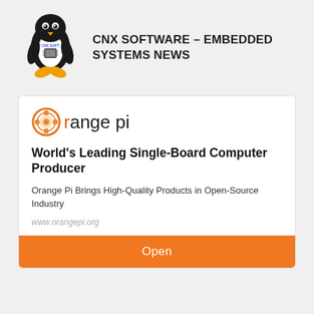[Figure (logo): CNX Software Tux Linux penguin mascot logo holding a circuit board, with CNX SOFT text]
CNX SOFTWARE – EMBEDDED SYSTEMS NEWS
[Figure (logo): Orange Pi logo — orange fruit icon with 'range pi' text forming 'orange pi']
World's Leading Single-Board Computer Producer
Orange Pi Brings High-Quality Products in Open-Source Industry
www.orangepi.org
Open